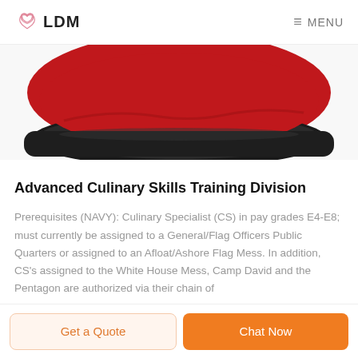LDM  MENU
[Figure (photo): Close-up photo of a red and black military beret, showing the brim and fabric folds against a white background.]
Advanced Culinary Skills Training Division
Prerequisites (NAVY): Culinary Specialist (CS) in pay grades E4-E8; must currently be assigned to a General/Flag Officers Public Quarters or assigned to an Afloat/Ashore Flag Mess. In addition, CS's assigned to the White House Mess, Camp David and the Pentagon are authorized via their chain of
Get a Quote  Chat Now